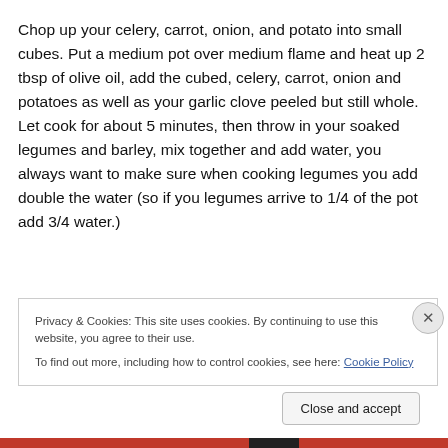Chop up your celery, carrot, onion, and potato into small cubes. Put a medium pot over medium flame and heat up 2 tbsp of olive oil, add the cubed, celery, carrot, onion and potatoes as well as your garlic clove peeled but still whole. Let cook for about 5 minutes, then throw in your soaked legumes and barley, mix together and add water, you always want to make sure when cooking legumes you add double the water (so if you legumes arrive to 1/4 of the pot add 3/4 water.)
Privacy & Cookies: This site uses cookies. By continuing to use this website, you agree to their use. To find out more, including how to control cookies, see here: Cookie Policy